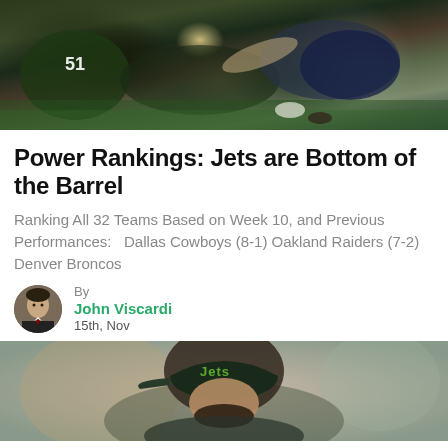[Figure (photo): Football game action shot showing players from the New York Jets (green uniforms, #51) tackling opposing players in blue/grey uniforms on a field]
Power Rankings: Jets are Bottom of the Barrel
Ranking All 32 Teams Based on Week 10, and Previous Performances:   Dallas Cowboys (8-1) Oakland Raiders (7-2) Denver Broncos
By
John Viscardi
15th, Nov
[Figure (photo): Close-up photo of a person wearing a New York Jets cap, head bowed down]